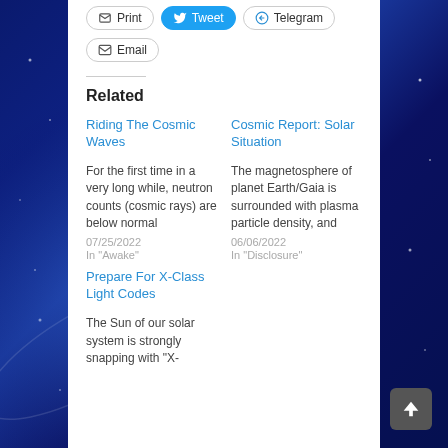Print | Tweet | Telegram | Email (share buttons)
Related
Riding The Cosmic Waves
For the first time in a very long while, neutron counts (cosmic rays) are below normal
07/25/2022
In "Awake"
Cosmic Report: Solar Situation
The magnetosphere of planet Earth/Gaia is surrounded with plasma particle density, and
06/06/2022
In "Disclosure"
Prepare For X-Class Light Codes
The Sun of our solar system is strongly snapping with "X-